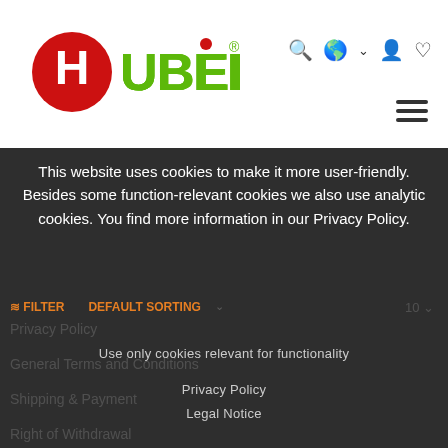[Figure (logo): Hubelino logo with red ball and green text]
This website uses cookies to make it more user-friendly. Besides some function-relevant cookies we also use analytic cookies. You find more information in our Privacy Policy.
I accept
Use only cookies relevant for functionality
Privacy Policy
Legal Notice